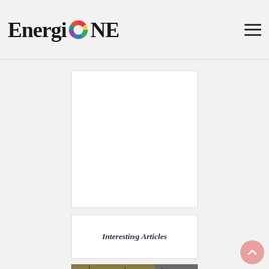EnergioNE
[Figure (other): White advertisement/content placeholder box]
Interesting Articles
[Figure (photo): Article card image showing power lines over a wheat field (yellowish-brown on left, grey on right) with overlay title text: Description Of Vincent Willem Van Gogh's]
Description Of Vincent Willem Van Gogh's